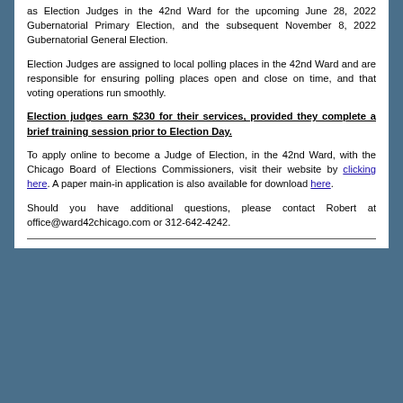as Election Judges in the 42nd Ward for the upcoming June 28, 2022 Gubernatorial Primary Election, and the subsequent November 8, 2022 Gubernatorial General Election.
Election Judges are assigned to local polling places in the 42nd Ward and are responsible for ensuring polling places open and close on time, and that voting operations run smoothly.
Election judges earn $230 for their services, provided they complete a brief training session prior to Election Day.
To apply online to become a Judge of Election, in the 42nd Ward, with the Chicago Board of Elections Commissioners, visit their website by clicking here. A paper main-in application is also available for download here.
Should you have additional questions, please contact Robert at office@ward42chicago.com or 312-642-4242.